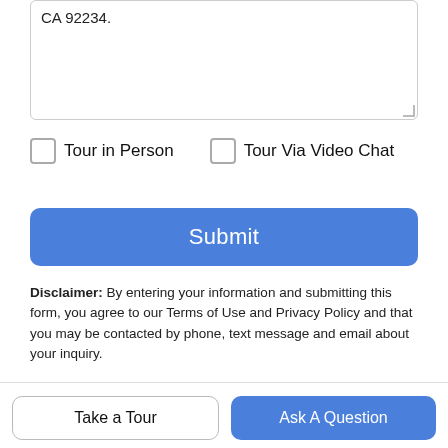CA 92234.
Tour in Person    Tour Via Video Chat
Submit
Disclaimer: By entering your information and submitting this form, you agree to our Terms of Use and Privacy Policy and that you may be contacted by phone, text message and email about your inquiry.
Based on information from the Combined LA/Westside Multiple Listing Service as of 2022-09-05T16:42:36.903. All data, including all measurements and calculations of area, is obtained from
Take a Tour
Ask A Question